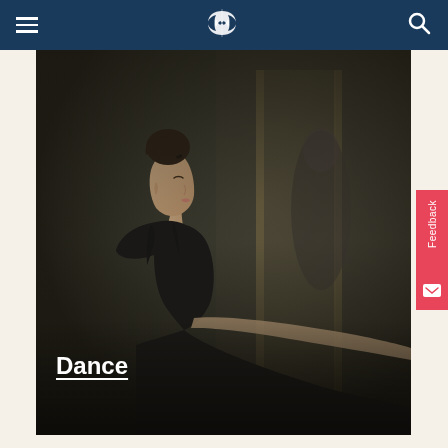Navigation bar with hamburger menu, logo, and search icon
[Figure (photo): A ballet dancer in profile view, wearing a black leotard with spaghetti straps, hair in a bun, looking upward with a serene expression. She appears to be at a ballet barre. The background shows a blurred studio mirror environment with warm tones. The image has a dark, moody atmosphere.]
Dance